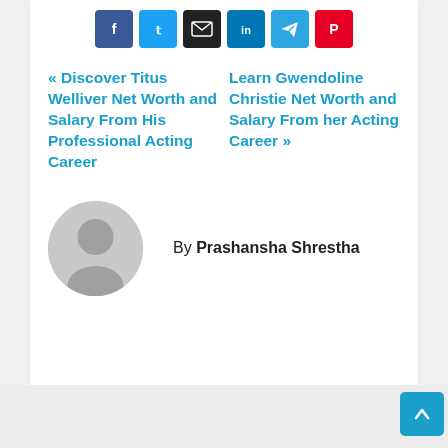[Figure (infographic): Social media share buttons row: Facebook (blue), Twitter (light blue), Email (dark/black), LinkedIn (blue), Telegram (teal), Pinterest (red)]
« Discover Titus Welliver Net Worth and Salary From His Professional Acting Career
Learn Gwendoline Christie Net Worth and Salary From her Acting Career »
By Prashansha Shrestha
[Figure (photo): Generic user avatar: grey circle with silhouette of a person (head and shoulders), placeholder profile image]